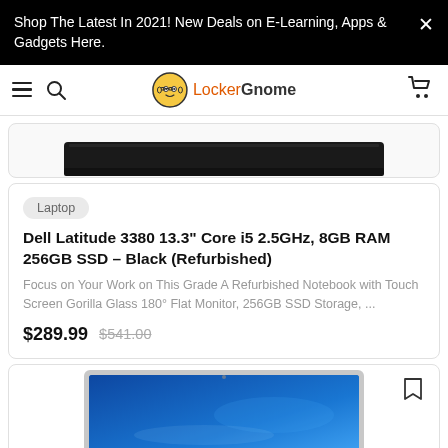Shop The Latest In 2021! New Deals on E-Learning, Apps & Gadgets Here.
[Figure (screenshot): LockerGnome website navigation bar with hamburger menu, search icon, logo with gnome face icon, and cart icon]
[Figure (photo): Partial view of a black laptop from above, showing the top edge and lid]
Laptop
Dell Latitude 3380 13.3" Core i5 2.5GHz, 8GB RAM 256GB SSD – Black (Refurbished)
Focus on Your Work on This Grade A Refurbished Notebook with Touch Screen Gorilla Glass 180° Flat Monitor, 256GB SSD Storage, ...
$289.99  $541.00
[Figure (photo): Partial view of a laptop with Windows 10 desktop visible on screen, light gray chassis, shown from slightly below and in front]